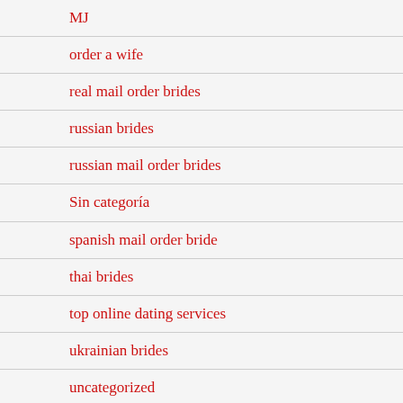MJ
order a wife
real mail order brides
russian brides
russian mail order brides
Sin categoría
spanish mail order bride
thai brides
top online dating services
ukrainian brides
uncategorized